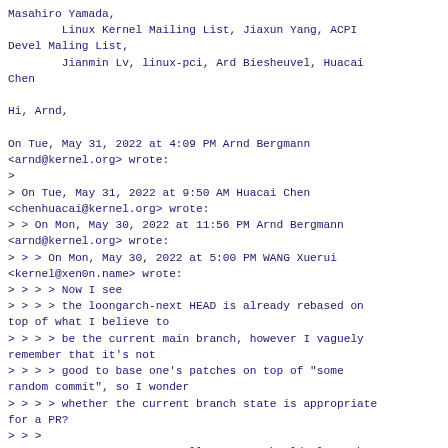Masahiro Yamada,
        Linux Kernel Mailing List, Jiaxun Yang, ACPI Devel Maling List,
        Jianmin Lv, linux-pci, Ard Biesheuvel, Huacai Chen

Hi, Arnd,

On Tue, May 31, 2022 at 4:09 PM Arnd Bergmann <arnd@kernel.org> wrote:
>
> On Tue, May 31, 2022 at 9:50 AM Huacai Chen <chenhuacai@kernel.org> wrote:
> > On Mon, May 30, 2022 at 11:56 PM Arnd Bergmann <arnd@kernel.org> wrote:
> > > On Mon, May 30, 2022 at 5:00 PM WANG Xuerui <kernel@xen0n.name> wrote:
> > > > Now I see
> > > > the loongarch-next HEAD is already rebased on top of what I believe to
> > > > be the current main branch, however I vaguely remember that it's not
> > > > good to base one's patches on top of "some random commit", so I wonder
> > > > whether the current branch state is appropriate for a PR?
> > >
> > > You are correct, a pull request should always be based on an -rc, orat least
> > > have the minimum set of dependencies. The branch